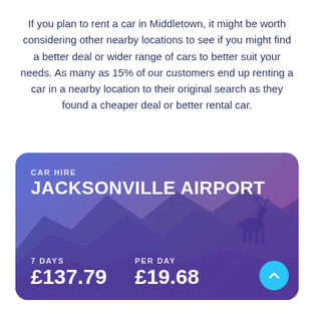If you plan to rent a car in Middletown, it might be worth considering other nearby locations to see if you might find a better deal or wider range of cars to better suit your needs. As many as 15% of our customers end up renting a car in a nearby location to their original search as they found a cheaper deal or better rental car.
[Figure (infographic): Car hire promotional card with gradient purple background showing Jacksonville Airport with 7 days price £137.79 and per day price £19.68, mountain silhouette and deer illustration in background]